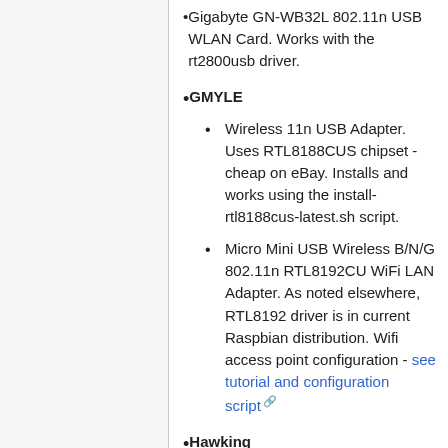Gigabyte GN-WB32L 802.11n USB WLAN Card. Works with the rt2800usb driver.
GMYLE
Wireless 11n USB Adapter. Uses RTL8188CUS chipset - cheap on eBay. Installs and works using the install-rtl8188cus-latest.sh script.
Micro Mini USB Wireless B/N/G 802.11n RTL8192CU WiFi LAN Adapter. As noted elsewhere, RTL8192 driver is in current Raspbian distribution. Wifi access point configuration - see tutorial and configuration script
Hawking
HWU54G rev. Z2 (802.11g) (B). Requires "zd1211-firmware"